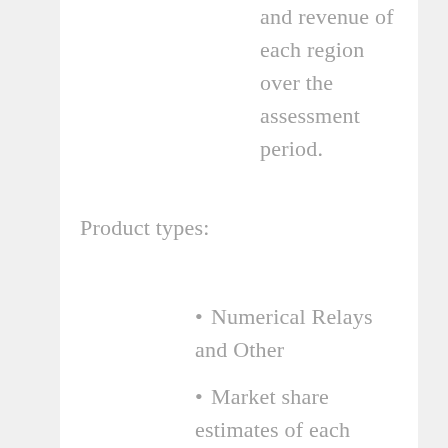and revenue of each region over the assessment period.
Product types:
Numerical Relays and Other
Market share estimates of each product segment in terms of total sales and revenue